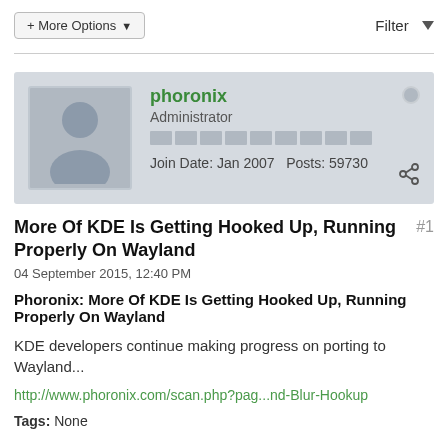+ More Options ▾
Filter ▾
[Figure (illustration): User avatar placeholder: grey silhouette of a person on a grey background]
phoronix
Administrator
Join Date: Jan 2007  Posts: 59730
More Of KDE Is Getting Hooked Up, Running Properly On Wayland
#1
04 September 2015, 12:40 PM
Phoronix: More Of KDE Is Getting Hooked Up, Running Properly On Wayland
KDE developers continue making progress on porting to Wayland...
http://www.phoronix.com/scan.php?pag...nd-Blur-Hookup
Tags: None